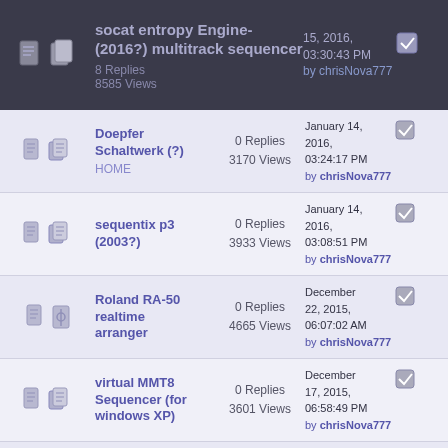socat entropy Engine-(2016?) multitrack sequencer — 8 Replies, 8585 Views — 15, 2016, 03:30:43 PM by chrisNova777
Doepfer Schaltwerk (?) HOME — 0 Replies, 3170 Views — January 14, 2016, 03:24:17 PM by chrisNova777
sequentix p3 (2003?) — 0 Replies, 3933 Views — January 14, 2016, 03:08:51 PM by chrisNova777
Roland RA-50 realtime arranger — 0 Replies, 4665 Views — December 22, 2015, 06:07:02 AM by chrisNova777
virtual MMT8 Sequencer (for windows XP) — 0 Replies, 3601 Views — December 17, 2015, 06:58:49 PM by chrisNova777
hardware midi sequencers that support 1.44mb floppies — 0 Replies, 3267 Views — December 14, 2015, 09:52:53 PM by chrisNova777
FSK frequency shift keying (tape sync in/out) — 0 Replies, 3203 Views — December 12, 2015, 09:21:14 AM by chrisNova777